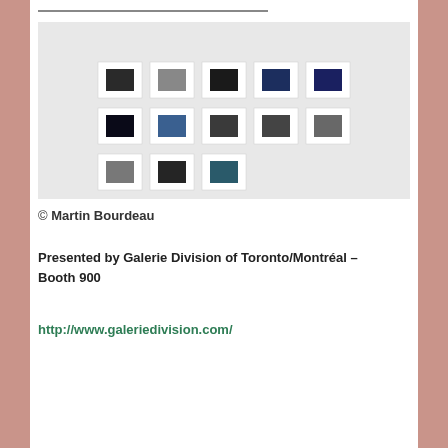[Figure (photo): Gallery installation photo showing 13 small framed artworks arranged in three rows on a white wall. Each artwork features a small dark colored square (black, gray, navy blue) centered on a white mat. Top row has 5 pieces, middle row has 5 pieces, bottom row has 3 pieces.]
© Martin Bourdeau
Presented by Galerie Division of Toronto/Montréal – Booth 900
http://www.galeriedivision.com/